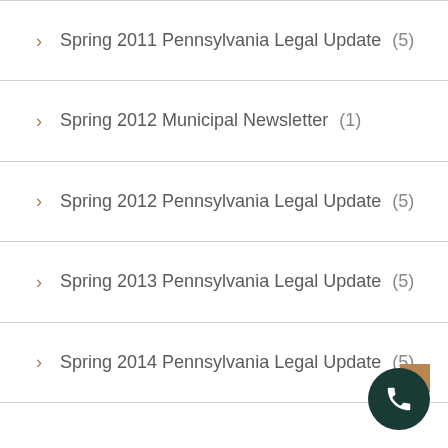Spring 2011 Pennsylvania Legal Update (5)
Spring 2012 Municipal Newsletter (1)
Spring 2012 Pennsylvania Legal Update (5)
Spring 2013 Pennsylvania Legal Update (5)
Spring 2014 Pennsylvania Legal Update (5)